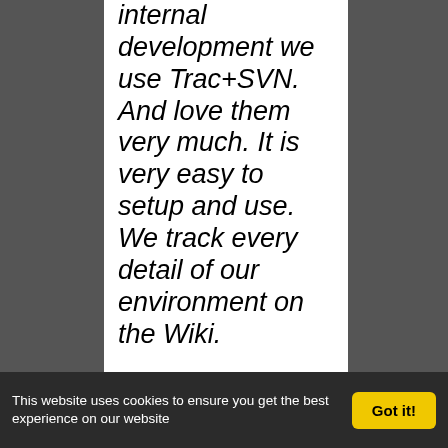For our internal development we use Trac+SVN. And love them very much. It is very easy to setup and use. We track every detail of our environment on the Wiki.
PowerSpike — it is possible to make to support trac with already existing a
This website uses cookies to ensure you get the best experience on our website   Got it!